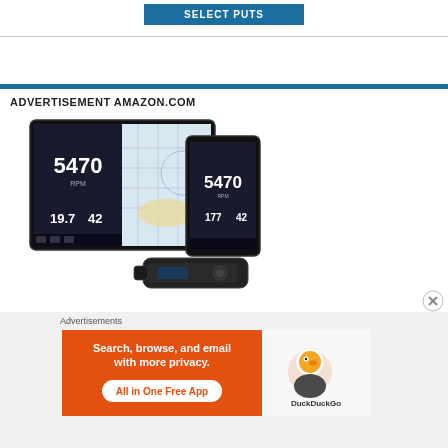[Figure (other): SELECT PUTS button — teal/dark blue rectangular button with white text]
[Figure (other): Amazon.com advertisement showing navigation/marine electronics device (tablet and phone screens showing chart plotter app with number 5470, alongside a black hardware sensor/dongle). Product image for a marine electronics product.]
ADVERTISEMENT AMAZON.COM
[Figure (other): DuckDuckGo banner advertisement: orange/red left panel with white text 'Search, browse, and email with more privacy. All in One Free App' and white right panel with DuckDuckGo duck logo and text 'DuckDuckGo']
Advertisements